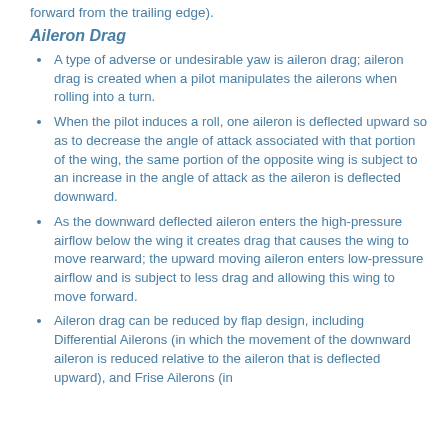forward from the trailing edge).
Aileron Drag
A type of adverse or undesirable yaw is aileron drag; aileron drag is created when a pilot manipulates the ailerons when rolling into a turn.
When the pilot induces a roll, one aileron is deflected upward so as to decrease the angle of attack associated with that portion of the wing, the same portion of the opposite wing is subject to an increase in the angle of attack as the aileron is deflected downward.
As the downward deflected aileron enters the high-pressure airflow below the wing it creates drag that causes the wing to move rearward; the upward moving aileron enters low-pressure airflow and is subject to less drag and allowing this wing to move forward.
Aileron drag can be reduced by flap design, including Differential Ailerons (in which the movement of the downward aileron is reduced relative to the aileron that is deflected upward), and Frise Ailerons (in